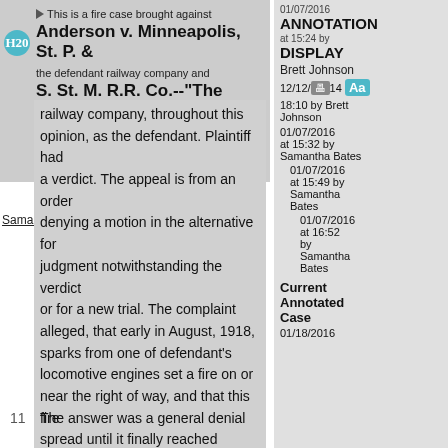Anderson v. Minneapolis, St. P. & S. St. M. R.R. Co.--"The Multiple Fires Case"
This is a fire case brought against the defendant railway company and the Director General of Railroads. For convenience, we shall refer to the railway company, throughout this opinion, as the defendant. Plaintiff had a verdict. The appeal is from an order denying a motion in the alternative for judgment notwithstanding the verdict or for a new trial. The complaint alleged, that early in August, 1918, sparks from one of defendant's locomotive engines set a fire on or near the right of way, and that this fire spread until it finally reached plaintiff's land, where it destroyed some of his property.
Samantha Bates
11   The answer was a general denial
01/07/2016
ANNOTATION
at 15:24 by
DISPLAY
Brett Johnson
12/12/ 14 Aa
18:10 by Brett Johnson
01/07/2016 at 15:32 by Samantha Bates
01/07/2016 at 15:49 by Samantha Bates
01/07/2016 at 16:52 by Samantha Bates
Current Annotated Case
01/18/2016